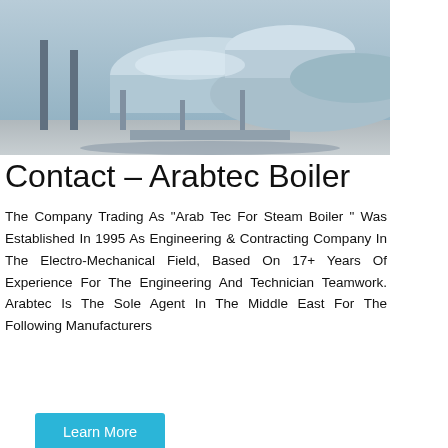[Figure (photo): Industrial boiler equipment in a facility, large cylindrical drum visible with pipes and structural supports]
Contact – Arabtec Boiler
The Company Trading As "Arab Tec For Steam Boiler " Was Established In 1995 As Engineering & Contracting Company In The Electro-Mechanical Field, Based On 17+ Years Of Experience For The Engineering And Technician Teamwork. Arabtec Is The Sole Agent In The Middle East For The Following Manufacturers
[Figure (other): Learn More button (teal/cyan colored)]
[Figure (other): Right sidebar with Chat, Email, Contact options on dark background]
[Figure (photo): Industrial boiler installation interior showing large blue boiler unit with technician]
[Figure (other): WhatsApp icon (green rounded square) with Contact us now! green button]
Hey, we are live 24/7. How may I help you?